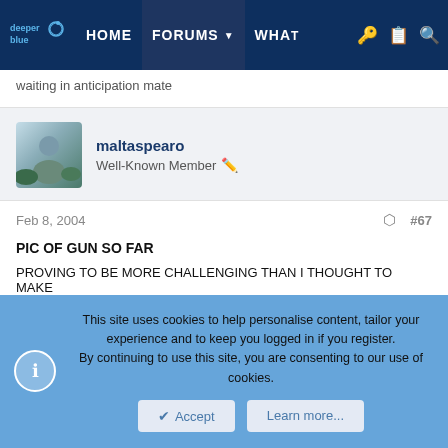deeper blue | HOME | FORUMS | WHAT | (icons)
waiting in anticipation mate
maltaspearo
Well-Known Member
Feb 8, 2004  #67
PIC OF GUN SO FAR
PROVING TO BE MORE CHALLENGING THAN I THOUGHT TO MAKE
This site uses cookies to help personalise content, tailor your experience and to keep you logged in if you register.
By continuing to use this site, you are consenting to our use of cookies.